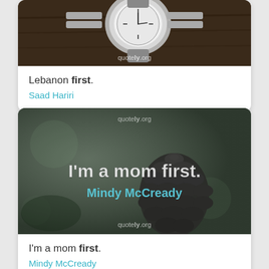[Figure (photo): Quote card image showing a watch on a dark wooden surface with quotely.org watermark]
Lebanon first.
Saad Hariri
[Figure (photo): Quote card image showing a pine cone on a blurred green/grey background with text 'I'm a mom first.' and 'Mindy McCready' and quotely.org watermark]
I'm a mom first.
Mindy McCready